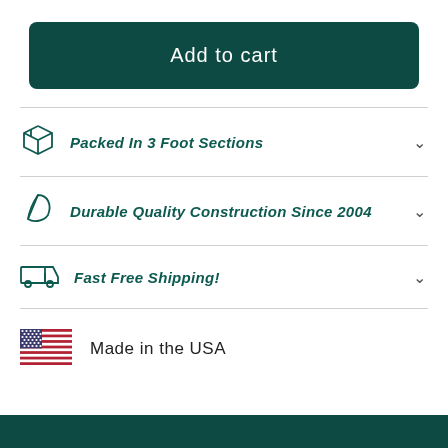Add to cart
Packed In 3 Foot Sections
Durable Quality Construction Since 2004
Fast Free Shipping!
Made in the USA